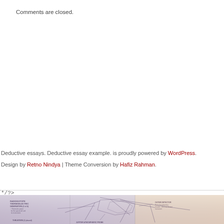Comments are closed.
Deductive essays. Deductive essay example. is proudly powered by WordPress.
Design by Retno Nindya | Theme Conversion by Hafiz Rahman.
*/>
[Figure (schematic): Engineering schematic diagram of a spacecraft (likely Galileo probe) showing radioisotope thermoelectric generators, thrusters, Jupiter atmospheric probe, and other labeled components. Faded purple/beige tones with a tree/forest background blended in.]